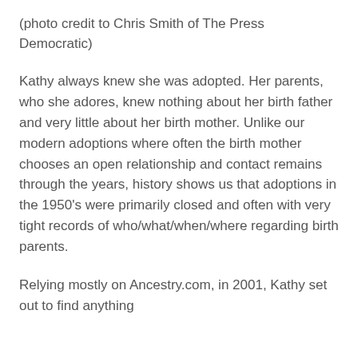(photo credit to Chris Smith of The Press Democratic)
Kathy always knew she was adopted. Her parents, who she adores, knew nothing about her birth father and very little about her birth mother. Unlike our modern adoptions where often the birth mother chooses an open relationship and contact remains through the years, history shows us that adoptions in the 1950's were primarily closed and often with very tight records of who/what/when/where regarding birth parents.
Relying mostly on Ancestry.com, in 2001, Kathy set out to find anything